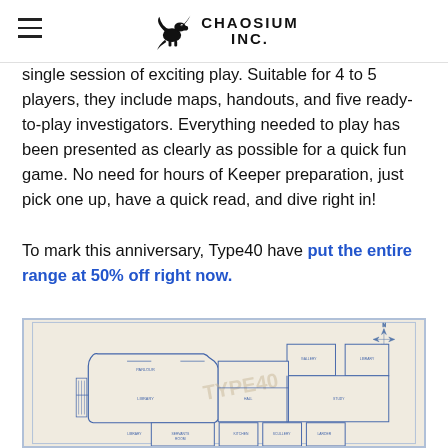Chaosium Inc.
single session of exciting play. Suitable for 4 to 5 players, they include maps, handouts, and five ready-to-play investigators. Everything needed to play has been presented as clearly as possible for a quick fun game. No need for hours of Keeper preparation, just pick one up, have a quick read, and dive right in!

To mark this anniversary, Type40 have put the entire range at 50% off right now.
[Figure (schematic): Architectural floor plan of a large manor or building, shown in blue line drawing style on a beige background, with room labels and a compass rose in the upper right. A Type40 watermark is visible across the plan.]